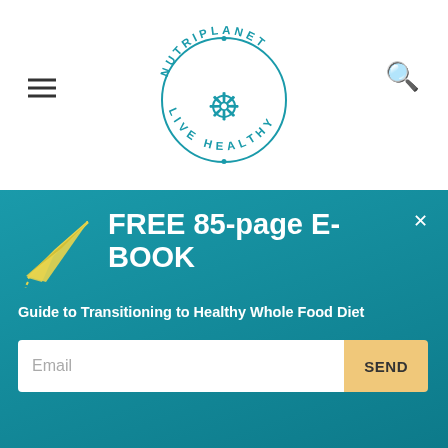NUTRIPLANET · LIVE HEALTHY (logo)
Furthermore, it lowers your risk of falls, as you're better able to support your body. [13, 14, 15]
For example, one review including 23,407 adults over
[Figure (infographic): Promotional banner for a free 85-page E-BOOK: Guide to Transitioning to Healthy Whole Food Diet, with email signup form and paper plane illustration, teal gradient background with close (x) button.]